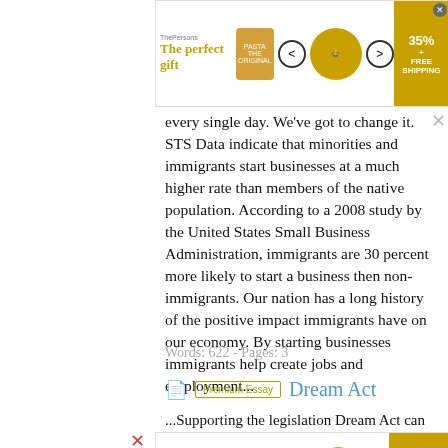[Figure (other): Advertisement banner at top: 'The perfect gift' with cooking pot image, navigation arrows, and 35% OFF FREE SHIPPING badge]
every single day. We've got to change it. STS Data indicate that minorities and immigrants start businesses at a much higher rate than members of the native population. According to a 2008 study by the United States Small Business Administration, immigrants are 30 percent more likely to start a business then non-immigrants. Our nation has a long history of the positive impact immigrants have on our economy. By starting businesses immigrants help create jobs and employment...
Words: 622 - Pages: 3
Dream Act
...Supporting the legislation Dream Act can benefit undocumented students in many ways as well
[Figure (other): Advertisement banner at bottom: 'The perfect gift' with cooking pot image, navigation arrows, and 35% OFF FREE SHIPPING badge]